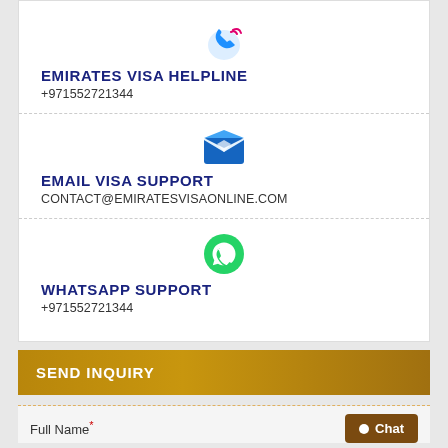[Figure (illustration): Blue phone handset icon with pink signal waves]
EMIRATES VISA HELPLINE
+971552721344
[Figure (illustration): Blue open envelope/email icon]
EMAIL VISA SUPPORT
CONTACT@EMIRATESVISAONLINE.COM
[Figure (illustration): Green WhatsApp logo icon]
WHATSAPP SUPPORT
+971552721344
SEND INQUIRY
Full Name*